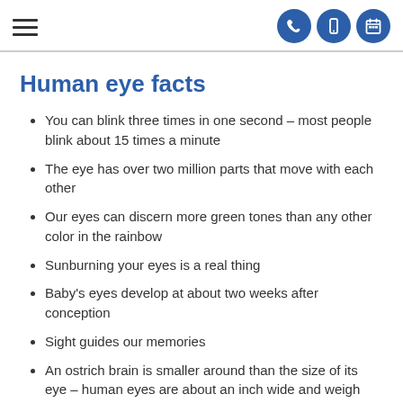Navigation icons header
Human eye facts
You can blink three times in one second – most people blink about 15 times a minute
The eye has over two million parts that move with each other
Our eyes can discern more green tones than any other color in the rainbow
Sunburning your eyes is a real thing
Baby's eyes develop at about two weeks after conception
Sight guides our memories
An ostrich brain is smaller around than the size of its eye – human eyes are about an inch wide and weigh around an ounce
Your eyelashes only last about five months – the